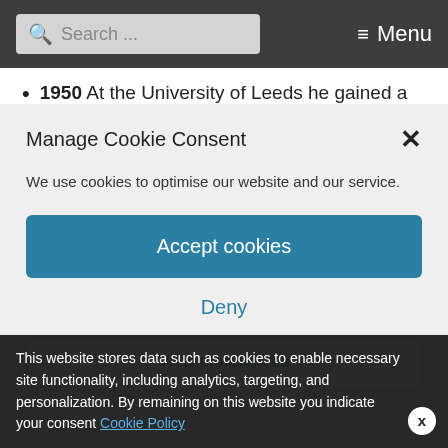Search ... Menu
1950 At the University of Leeds he gained a
Manage Cookie Consent
We use cookies to optimise our website and our service.
Accept cookies
Deny
View preferences
This website stores data such as cookies to enable necessary site functionality, including analytics, targeting, and personalization. By remaining on this website you indicate your consent Cookie Policy
Records as the best selling non-fiction writer of the 1990s
2007 Awarded an O.B.E.